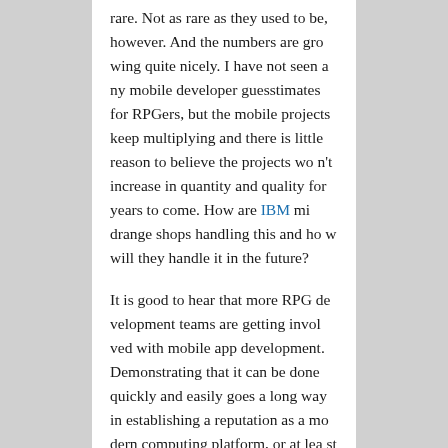rare. Not as rare as they used to be, however. And the numbers are growing quite nicely. I have not seen any mobile developer guesstimates for RPGers, but the mobile projects keep multiplying and there is little reason to believe the projects won't increase in quantity and quality for years to come. How are IBM midrange shops handling this and how will they handle it in the future?
It is good to hear that more RPG development teams are getting involved with mobile app development. Demonstrating that it can be done quickly and easily goes a long way in establishing a reputation as a modern computing platform, or at least debunking the opposite. Java, .NET, Objective C, or other skills are not an automatic requirement for mobile or Web application develop